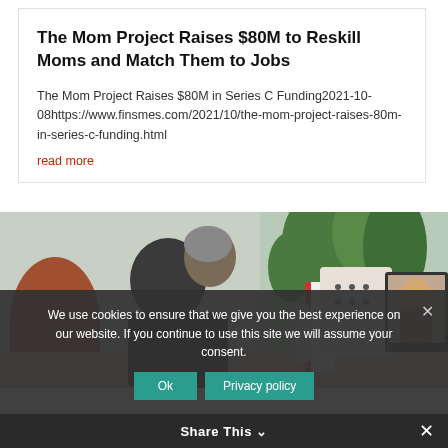The Mom Project Raises $80M to Reskill Moms and Match Them to Jobs
The Mom Project Raises $80M in Series C Funding2021-10-08https://www.finsmes.com/2021/10/the-mom-project-raises-80m-in-series-c-funding.html
read more
[Figure (photo): A person viewed from the side sitting at a desk with plants in the background, a water bottle, a dotted bag/container, and a laptop screen showing a video call with a woman.]
We use cookies to ensure that we give you the best experience on our website. If you continue to use this site we will assume your consent.
Ok   Privacy policy
Share This